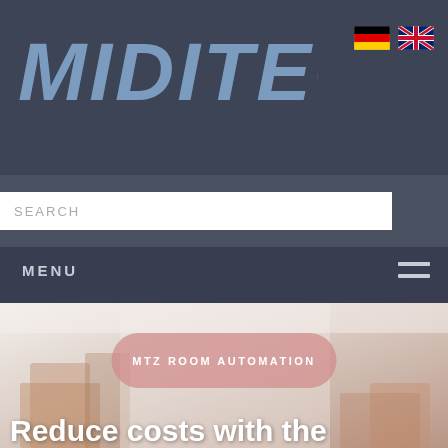[Figure (logo): MIDITEC logo in bold italic blue-grey text]
[Figure (illustration): German flag icon]
[Figure (illustration): UK flag icon]
SEARCH
MENU
[Figure (illustration): Hamburger menu icon (three horizontal lines)]
[Figure (photo): Blurred hotel room interior with wooden furniture]
MTZ ROOM AUTOMATION
Reduce costs with the